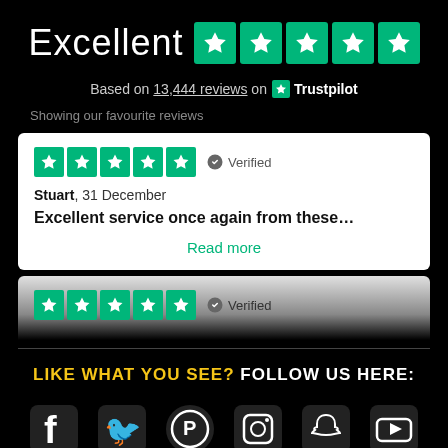Excellent ★★★★★
Based on 13,444 reviews on Trustpilot
Showing our favourite reviews
★★★★★ Verified
Stuart, 31 December
Excellent service once again from these…
Read more
★★★★★ Verified
LIKE WHAT YOU SEE? FOLLOW US HERE:
[Figure (logo): Social media icons: Facebook, Twitter, Pinterest, Instagram, Snapchat, YouTube]